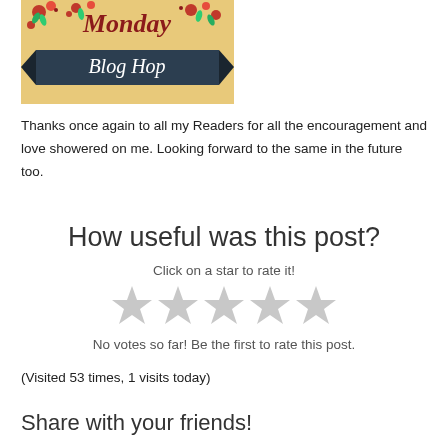[Figure (illustration): Monday Blog Hop decorative banner image with floral elements and dark ribbon banner reading 'Blog Hop']
Thanks once again to all my Readers for all the encouragement and love showered on me. Looking forward to the same in the future too.
How useful was this post?
Click on a star to rate it!
[Figure (other): Five empty grey star rating icons]
No votes so far! Be the first to rate this post.
(Visited 53 times, 1 visits today)
Share with your friends!